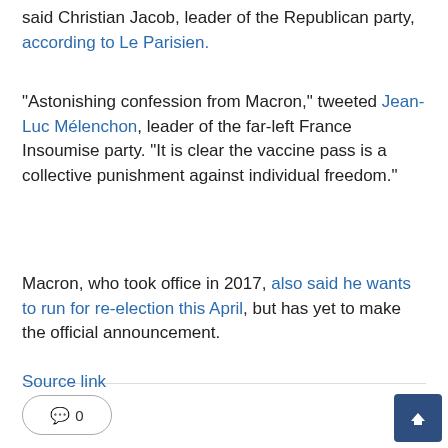said Christian Jacob, leader of the Republican party, according to Le Parisien.
"Astonishing confession from Macron," tweeted Jean-Luc Mélenchon, leader of the far-left France Insoumise party. "It is clear the vaccine pass is a collective punishment against individual freedom."
Macron, who took office in 2017, also said he wants to run for re-election this April, but has yet to make the official announcement.
Source link
0